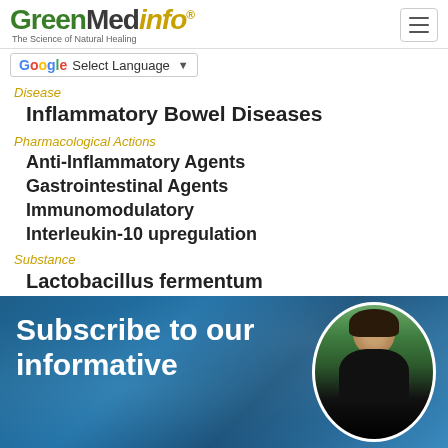GreenMedinfo — The Science of Natural Healing
Select Language
Disease
Inflammatory Bowel Diseases
Pharmacological Actions
Anti-Inflammatory Agents
Gastrointestinal Agents
Immunomodulatory
Interleukin-10 upregulation
Substance
Lactobacillus fermentum
Subscribe to our informative